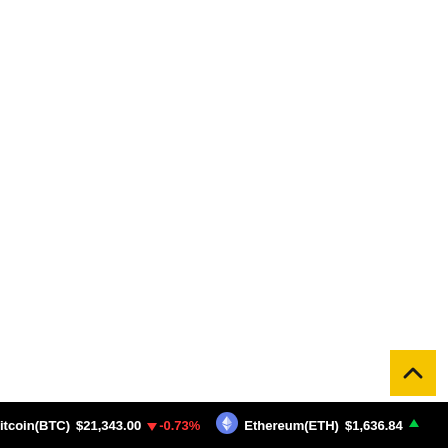[Figure (screenshot): Mostly blank white area — upper portion of a cryptocurrency website page with no visible content loaded]
[Figure (other): Yellow scroll-to-top button with upward chevron arrow, positioned in the lower-right area]
Bitcoin(BTC) $21,343.00 ↓ -0.73%   Ethereum(ETH) $1,636.84 ↑